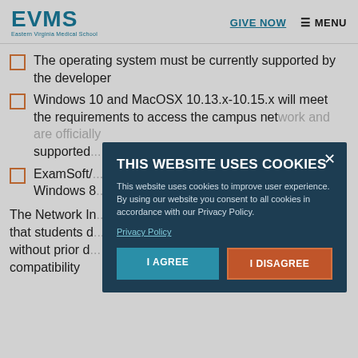EVMS Eastern Virginia Medical School | GIVE NOW | MENU
The operating system must be currently supported by the developer
Windows 10 and MacOSX 10.13.x-10.15.x will meet the requirements to access the campus network and are officially supported...
ExamSoft/... Windows 8...
The Network In... that students d... without prior c... compatibility
[Figure (screenshot): Cookie consent modal dialog with title 'THIS WEBSITE USES COOKIES', body text explaining cookie usage, Privacy Policy link, and two buttons: 'I AGREE' (teal) and 'I DISAGREE' (orange/red). Modal has a dark navy background with an X close button.]